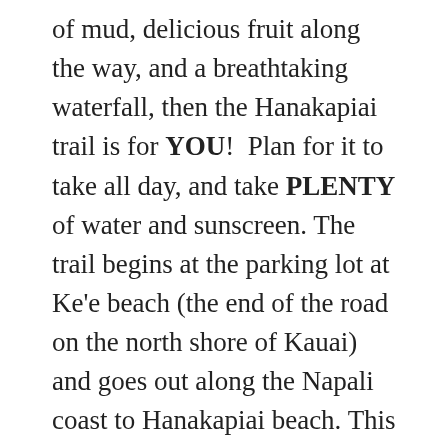of mud, delicious fruit along the way, and a breathtaking waterfall, then the Hanakapiai trail is for YOU!  Plan for it to take all day, and take PLENTY of water and sunscreen. The trail begins at the parking lot at Ke'e beach (the end of the road on the north shore of Kauai) and goes out along the Napali coast to Hanakapiai beach. This beach has dangerous surf during the winter season, but during the summer its fun to cool off and explore the small cave at the far side of the beach before starting up the valley to the waterfall. From Hanakapiai beach, the trail continues up to the Hanakapiai waterfall.. Along the trail to the waterfall you'll get a great work out and find tons of different kinds of fruit (guavas, mangos, avocados, and